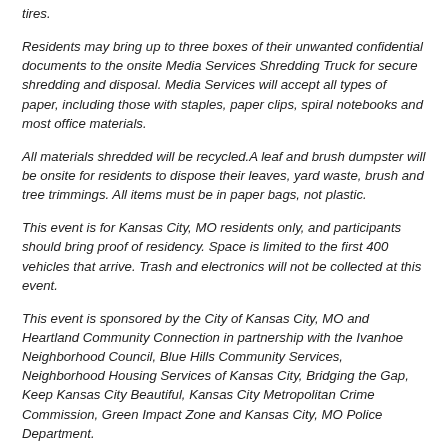tires.
Residents may bring up to three boxes of their unwanted confidential documents to the onsite Media Services Shredding Truck for secure shredding and disposal. Media Services will accept all types of paper, including those with staples, paper clips, spiral notebooks and most office materials.
All materials shredded will be recycled.A leaf and brush dumpster will be onsite for residents to dispose their leaves, yard waste, brush and tree trimmings. All items must be in paper bags, not plastic.
This event is for Kansas City, MO residents only, and participants should bring proof of residency. Space is limited to the first 400 vehicles that arrive. Trash and electronics will not be collected at this event.
This event is sponsored by the City of Kansas City, MO and Heartland Community Connection in partnership with the Ivanhoe Neighborhood Council, Blue Hills Community Services, Neighborhood Housing Services of Kansas City, Bridging the Gap, Keep Kansas City Beautiful, Kansas City Metropolitan Crime Commission, Green Impact Zone and Kansas City, MO Police Department.